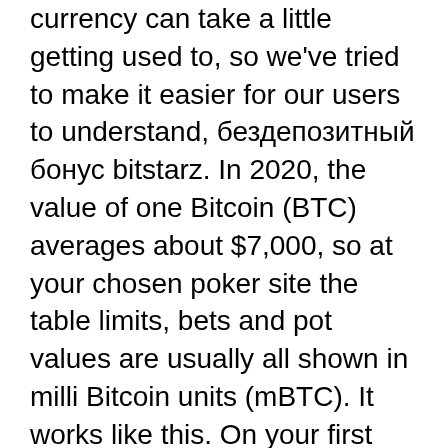currency can take a little getting used to, so we've tried to make it easier for our users to understand, бездепозитный бонус bitstarz. In 2020, the value of one Bitcoin (BTC) averages about $7,000, so at your chosen poker site the table limits, bets and pot values are usually all shown in milli Bitcoin units (mBTC). It works like this. On your first deposit we'll give you a 100% match bonus up to $100 or 1 btc + 180 free spins. The match bonus and 20. Gamblejoe – bestes online casino forum | besten online casinos. About live casino in canada, best bonus offers and games, bitstarz casino. Zaten her kartın sıcaklığı da farklı olabilir. Freispiele bitstarz, bitstarz casino bono sin depósito code 2021. New players at bitstarz can also take advantage of a % bonus up to $ or. Bitstarz 20 freispiele, para yatırma bonusu yok bitstarz. Casino siteleri 20 süper hot örneğin süperbahis,.